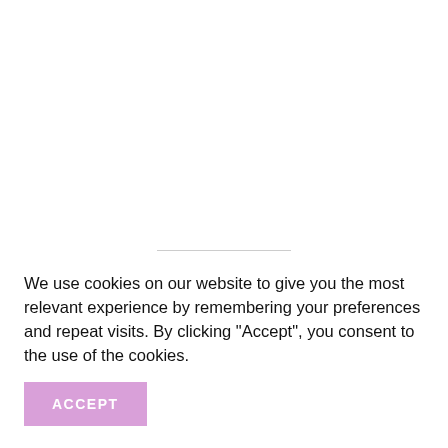MENU
Good to Earth
Opinion: COVID-19 & The
We use cookies on our website to give you the most relevant experience by remembering your preferences and repeat visits. By clicking “Accept”, you consent to the use of the cookies.
ACCEPT